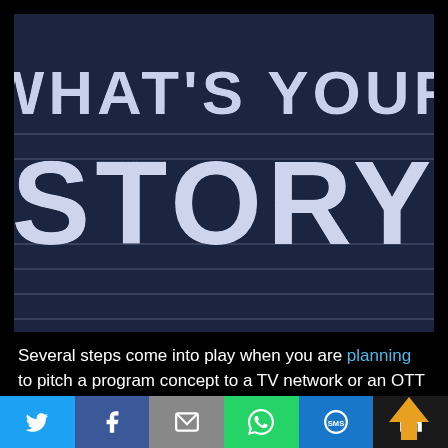[Figure (photo): Chalkboard with white chalk text reading WHAT'S YOUR STORY on a dark navy blue background with horizontal chalk lines]
Several steps come into play when you are planning to pitch a program concept to a TV network or an OTT platform. Networking always comes in mind whenever anyone wishes to take this big step. While it is crucial to know what
[Figure (infographic): Social media share bar with Twitter, Facebook, Email, WhatsApp, SMS, and LinkedIn icons]